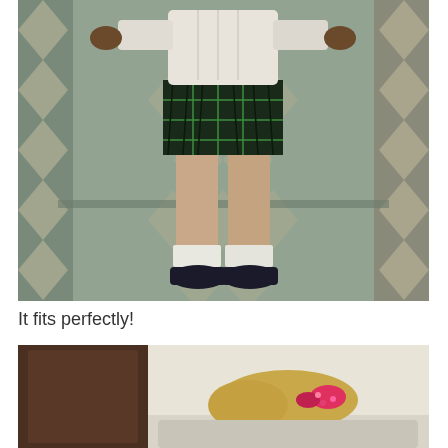[Figure (photo): Child standing on a patterned sofa/couch, wearing a white cable-knit sweater, dark green/navy tartan pleated skirt, white stockings, white ankle socks, and black patent leather shoes. The sofa has a zigzag/chevron fabric pattern in blue-grey tones.]
It fits perfectly!
[Figure (photo): Partial view of a child lying or leaning on a beige/cream couch or surface, with a wooden headboard visible. The child appears to have blonde hair and is wearing a pink patterned collar or accessory.]